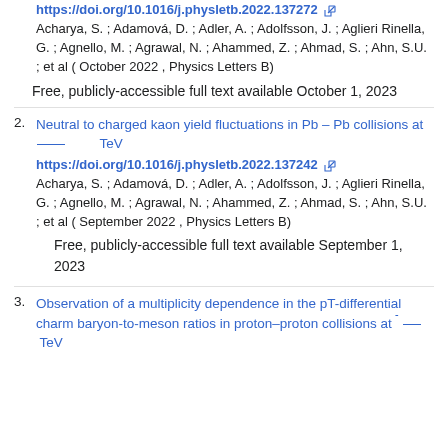https://doi.org/10.1016/j.physletb.2022.137272
Acharya, S. ; Adamová, D. ; Adler, A. ; Adolfsson, J. ; Aglieri Rinella, G. ; Agnello, M. ; Agrawal, N. ; Ahammed, Z. ; Ahmad, S. ; Ahn, S.U. ; et al ( October 2022 , Physics Letters B)
Free, publicly-accessible full text available October 1, 2023
2. Neutral to charged kaon yield fluctuations in Pb – Pb collisions at [overline] TeV https://doi.org/10.1016/j.physletb.2022.137242
Acharya, S. ; Adamová, D. ; Adler, A. ; Adolfsson, J. ; Aglieri Rinella, G. ; Agnello, M. ; Agrawal, N. ; Ahammed, Z. ; Ahmad, S. ; Ahn, S.U. ; et al ( September 2022 , Physics Letters B)
Free, publicly-accessible full text available September 1, 2023
3. Observation of a multiplicity dependence in the pT-differential charm baryon-to-meson ratios in proton–proton collisions at [overline] TeV